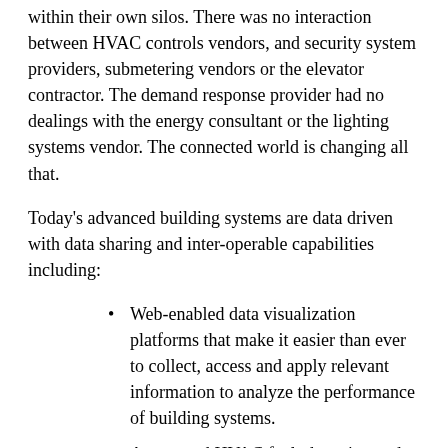within their own silos. There was no interaction between HVAC controls vendors, and security system providers, submetering vendors or the elevator contractor. The demand response provider had no dealings with the energy consultant or the lighting systems vendor. The connected world is changing all that.
Today's advanced building systems are data driven with data sharing and inter-operable capabilities including:
Web-enabled data visualization platforms that make it easier than ever to collect, access and apply relevant information to analyze the performance of building systems.
Automated HVAC fault detection and diagnostics (FDD) can detect and report significant faults in air handlers, chilled water systems, boilers, cooling towers and other critical HVAC components to help find and isolate problems that are